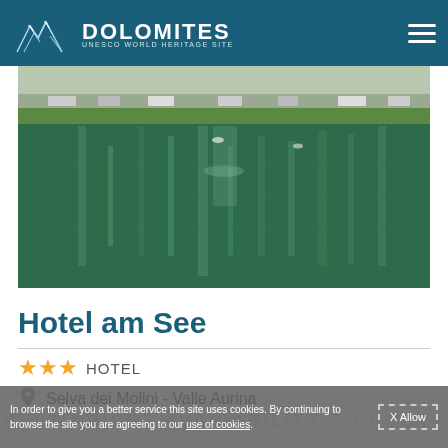DOLOMITES UNESCO WORLD HERITAGE SITE
[Figure (photo): Lakeside view with green water reflecting trees and buildings, with a parking area visible in the background]
Hotel am See
★★★ HOTEL
Selva dei Molini - Valle Aurina
In order to give you a better service this site uses cookies. By continuing to browse the site you are agreeing to our use of cookies.